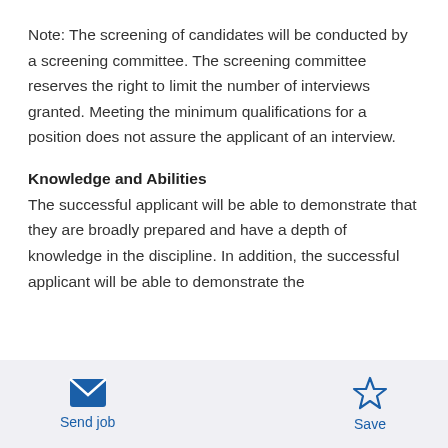Note: The screening of candidates will be conducted by a screening committee. The screening committee reserves the right to limit the number of interviews granted. Meeting the minimum qualifications for a position does not assure the applicant of an interview.
Knowledge and Abilities
The successful applicant will be able to demonstrate that they are broadly prepared and have a depth of knowledge in the discipline. In addition, the successful applicant will be able to demonstrate the
Send job   Save